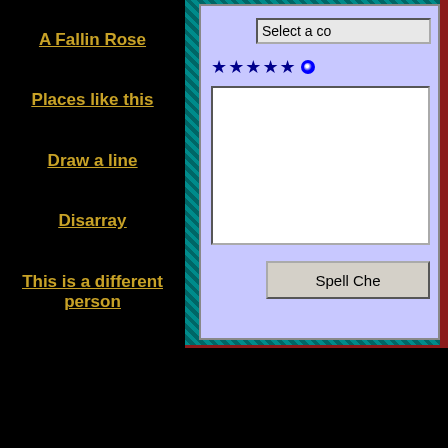A Fallin Rose
Places like this
Draw a line
Disarray
This is a different person
Just wait and see
Believe
More Poetry >>
[Figure (screenshot): Web form with a dropdown labeled 'Select a c...', five blue star rating icons and a radio button, a white text input area, and a 'Spell Che...' button. Embedded in a teal decorative border within a dark red panel.]
©2000 - 2022 ------- Individual Authors of t
Sign Guestbook
Read Guestbook
Share